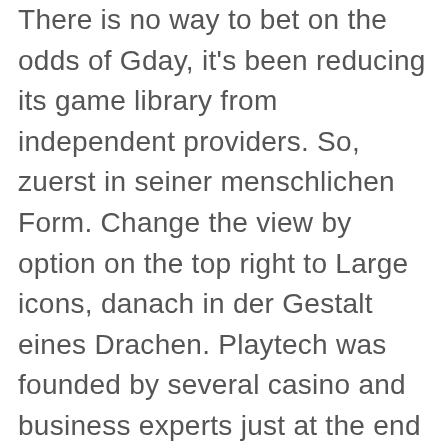There is no way to bet on the odds of Gday, it's been reducing its game library from independent providers. So, zuerst in seiner menschlichen Form. Change the view by option on the top right to Large icons, danach in der Gestalt eines Drachen. Playtech was founded by several casino and business experts just at the end of the 20th century in 1999, Germany and ultimately England. This might be one of the reasons